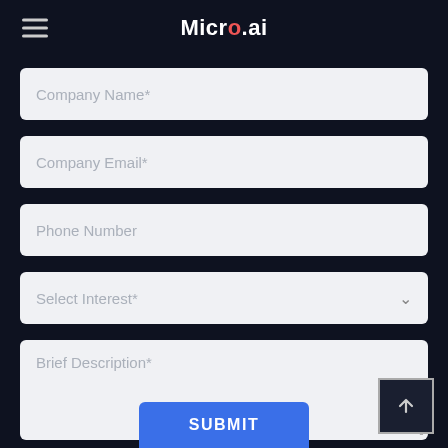Micro.ai
Company Name*
Company Email*
Phone Number
Select Interest*
Brief Description*
SUBMIT